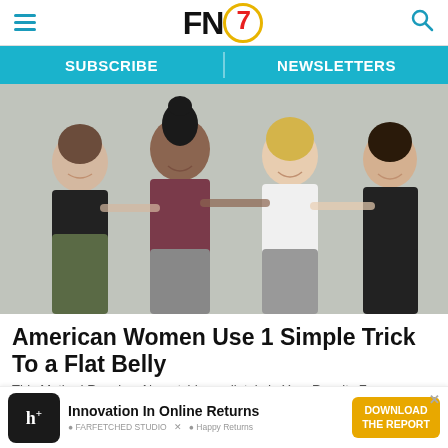FN7 — navigation header with hamburger menu, logo, and search icon
SUBSCRIBE | NEWSLETTERS
[Figure (photo): Four smiling women in athletic wear (sports bras and leggings) standing together with arms around each other against a grey wall background]
American Women Use 1 Simple Trick To a Flat Belly
This Method Requires No outside mediatels In Your Results F...
[Figure (advertisement): Advertisement for Innovation In Online Returns featuring an h+ branded black box, with logos for Farfetched Studio and Happy Returns, and a gold 'DOWNLOAD THE REPORT' button]